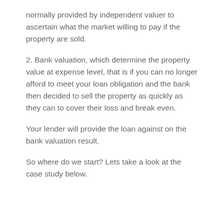normally provided by independent valuer to ascertain what the market willing to pay if the property are sold.
2. Bank valuation, which determine the property value at expense level, that is if you can no longer afford to meet your loan obligation and the bank then decided to sell the property as quickly as they can to cover their loss and break even.
Your lender will provide the loan against on the bank valuation result.
So where do we start? Lets take a look at the case study below.